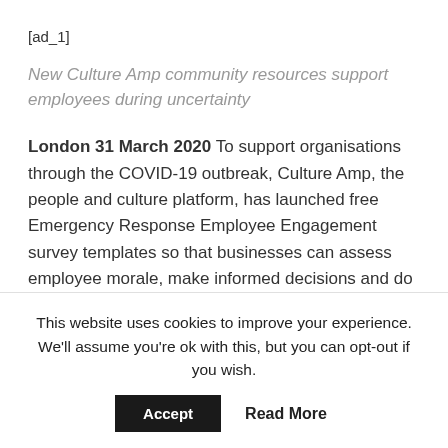[ad_1]
New Culture Amp community resources support employees during uncertainty
London 31 March 2020— To support organisations through the COVID-19 outbreak, Culture Amp, the people and culture platform, has launched free Emergency Response Employee Engagement survey templates so that businesses can assess employee morale, make informed decisions and do the right thing by its people.
The survey templates will enable organisations to assess
This website uses cookies to improve your experience. We'll assume you're ok with this, but you can opt-out if you wish.
Accept | Read More